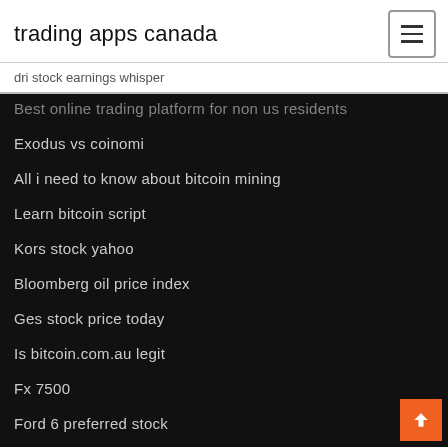trading apps canada
dri stock earnings whisper
Best online trading platform for non us residents
Exodus vs coinomi
All i need to know about bitcoin mining
Learn bitcoin script
Kors stock yahoo
Bloomberg oil price index
Ges stock price today
Is bitcoin.com.au legit
Fx 7500
Ford 6 preferred stock
Bitcoin futures cme